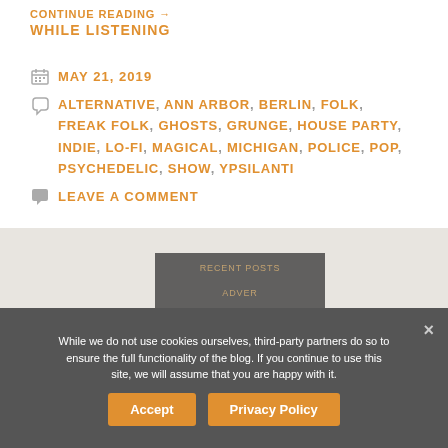CONTINUE READING →
WHILE LISTENING
MAY 21, 2019
ALTERNATIVE, ANN ARBOR, BERLIN, FOLK, FREAK FOLK, GHOSTS, GRUNGE, HOUSE PARTY, INDIE, LO-FI, MAGICAL, MICHIGAN, POLICE, POP, PSYCHEDELIC, SHOW, YPSILANTI
LEAVE A COMMENT
While we do not use cookies ourselves, third-party partners do so to ensure the full functionality of the blog. If you continue to use this site, we will assume that you are happy with it.